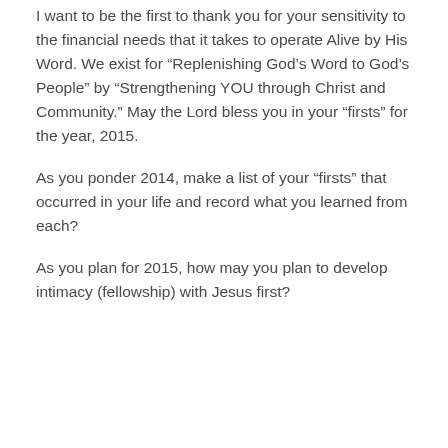I want to be the first to thank you for your sensitivity to the financial needs that it takes to operate Alive by His Word. We exist for “Replenishing God’s Word to God’s People” by “Strengthening YOU through Christ and Community.” May the Lord bless you in your “firsts” for the year, 2015.
As you ponder 2014, make a list of your “firsts” that occurred in your life and record what you learned from each?
As you plan for 2015, how may you plan to develop intimacy (fellowship) with Jesus first?